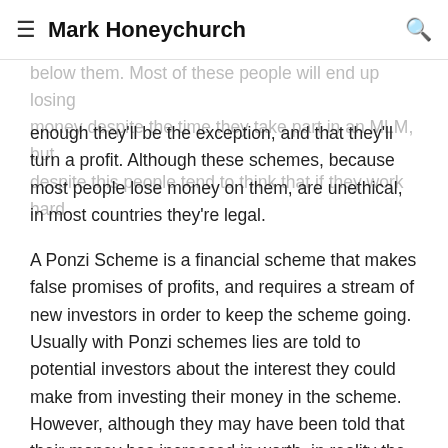Mark Honeychurch
enough they'll be the exception, and that they'll turn a profit. Although these schemes, because most people lose money on them, are unethical, in most countries they're legal.
A Ponzi Scheme is a financial scheme that makes false promises of profits, and requires a stream of new investors in order to keep the scheme going. Usually with Ponzi schemes lies are told to potential investors about the interest they could make from investing their money in the scheme. However, although they may have been told that their money has increased in worth, in reality the money is either sitting in a bank somewhere making little to no interest, or has been spent on buying the scheme's